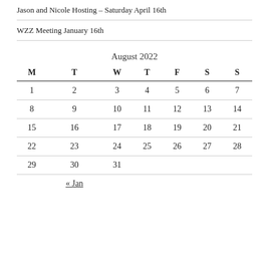Jason and Nicole Hosting – Saturday April 16th
WZZ Meeting January 16th
| M | T | W | T | F | S | S |
| --- | --- | --- | --- | --- | --- | --- |
| 1 | 2 | 3 | 4 | 5 | 6 | 7 |
| 8 | 9 | 10 | 11 | 12 | 13 | 14 |
| 15 | 16 | 17 | 18 | 19 | 20 | 21 |
| 22 | 23 | 24 | 25 | 26 | 27 | 28 |
| 29 | 30 | 31 |  |  |  |  |